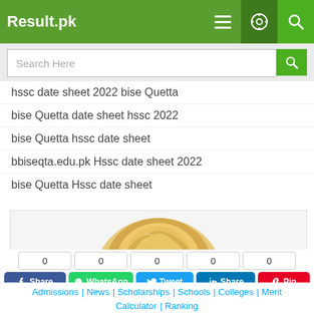Result.pk
[Figure (screenshot): Search bar with placeholder text 'Search Here' and a green search button]
hssc date sheet 2022 bise Quetta
bise Quetta date sheet hssc 2022
bise Quetta hssc date sheet
bbiseqta.edu.pk Hssc date sheet 2022
bise Quetta Hssc date sheet
[Figure (photo): Partial view of a person with blonde hair, advertisement area]
Close x
[Figure (infographic): Social sharing buttons row: Facebook Share (0), WhatsApp (0), Tweet (0), LinkedIn Share (0), Pinterest Pin (0); Facebook Recommend (0); Subscribe YouTube button]
Admissions | News | Scholarships | Schools | Colleges | Merit Calculator | Ranking